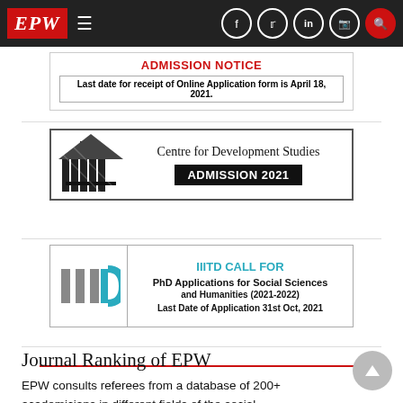[Figure (logo): EPW website navigation bar with EPW logo in red, hamburger menu, and social media icons (Facebook, Twitter, LinkedIn, Instagram, Search) on dark background]
[Figure (other): Admission Notice advertisement box. Title: ADMISSION NOTICE in red. Text: Last date for receipt of Online Application form is April 18, 2021.]
[Figure (other): Centre for Development Studies ADMISSION 2021 advertisement with institution logo on left and text on right]
[Figure (other): IIITD CALL FOR PhD Applications for Social Sciences and Humanities (2021-2022). Last Date of Application 31st Oct, 2021. IIITD logo on left side.]
Journal Ranking of EPW
EPW consults referees from a database of 200+ academicians in different fields of the social sciences on papers that are published in the